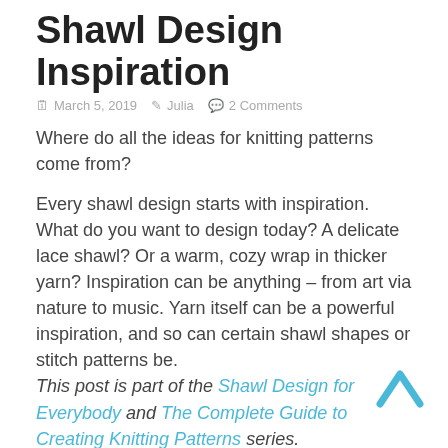Shawl Design Inspiration
March 5, 2019   Julia   2 Comments
Where do all the ideas for knitting patterns come from?
Every shawl design starts with inspiration. What do you want to design today? A delicate lace shawl? Or a warm, cozy wrap in thicker yarn? Inspiration can be anything – from art via nature to music. Yarn itself can be a powerful inspiration, and so can certain shawl shapes or stitch patterns be. This post is part of the Shawl Design for Everybody and The Complete Guide to Creating Knitting Patterns series.
Yarn
Every yarn is a source of inspiration. A...